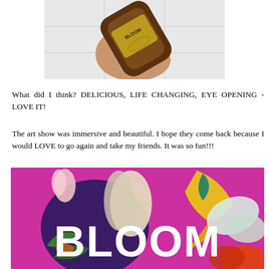[Figure (photo): A hand holding a brown decorative bottle with gold embossed label reading 'BLOOM', photographed against white tile background]
What did I think? DELICIOUS, LIFE CHANGING, EYE OPENING - LOVE IT!
The art show was immersive and beautiful. I hope they come back because I would LOVE to go again and take my friends. It was so fun!!!
[Figure (photo): Promotional image for BLOOM art show with large white BLOOM text over colorful painted flowers on a bright magenta/pink background]